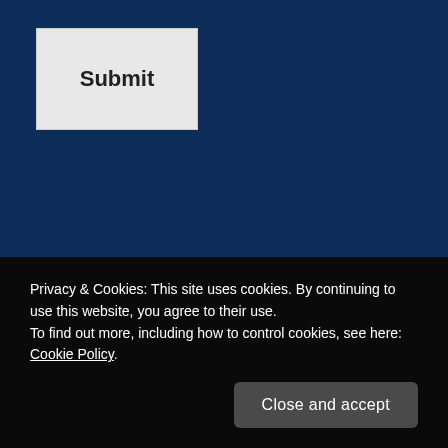Submit
Privacy & Cookies: This site uses cookies. By continuing to use this website, you agree to their use. To find out more, including how to control cookies, see here: Cookie Policy
Close and accept